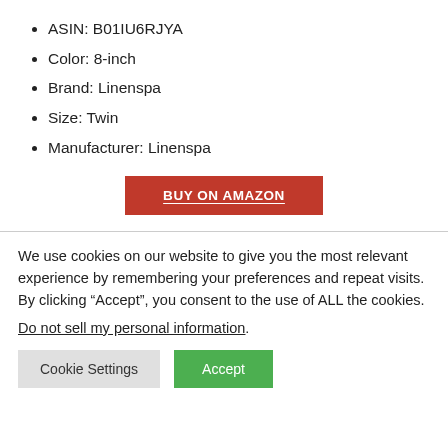ASIN: B01IU6RJYA
Color: 8-inch
Brand: Linenspa
Size: Twin
Manufacturer: Linenspa
BUY ON AMAZON
We use cookies on our website to give you the most relevant experience by remembering your preferences and repeat visits. By clicking “Accept”, you consent to the use of ALL the cookies.
Do not sell my personal information.
Cookie Settings
Accept